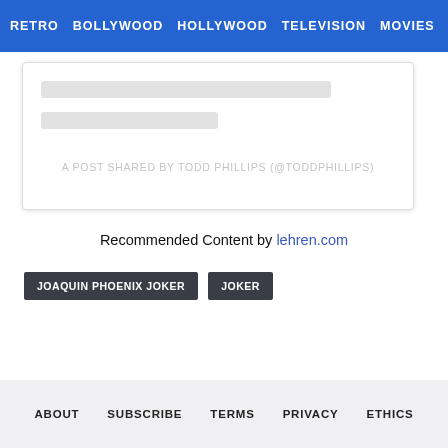RETRO  BOLLYWOOD  HOLLYWOOD  TELEVISION  MOVIES
[Figure (other): Embedded social media post card with skeleton loading lines and credit text: A POST SHARED BY TODD PHILLIPS (@TODDPHILLIPS)]
Recommended Content by lehren.com
JOAQUIN PHOENIX JOKER
JOKER
ABOUT  SUBSCRIBE  TERMS  PRIVACY  ETHICS